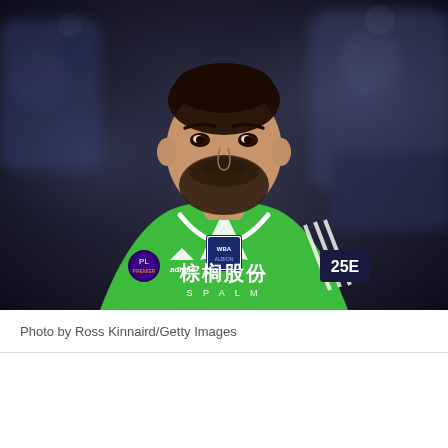[Figure (photo): A male footballer wearing a bright green West Bromwich Albion goalkeeper jersey with Chinese characters and 'SPALM' sponsor text, Adidas branding, and Premier League badge on sleeve. He has a dark beard and close-cropped hair, with a blurred stadium crowd in the background.]
Photo by Ross Kinnaird/Getty Images